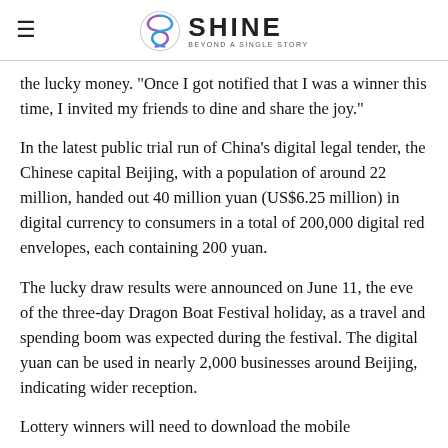SHINE BEYOND A SINGLE STORY
the lucky money. "Once I got notified that I was a winner this time, I invited my friends to dine and share the joy."
In the latest public trial run of China's digital legal tender, the Chinese capital Beijing, with a population of around 22 million, handed out 40 million yuan (US$6.25 million) in digital currency to consumers in a total of 200,000 digital red envelopes, each containing 200 yuan.
The lucky draw results were announced on June 11, the eve of the three-day Dragon Boat Festival holiday, as a travel and spending boom was expected during the festival. The digital yuan can be used in nearly 2,000 businesses around Beijing, indicating wider reception.
Lottery winners will need to download the mobile